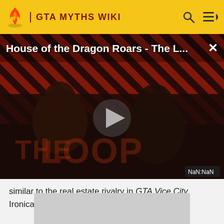GTA MYTHS WIKI
[Figure (screenshot): Video player showing 'House of the Dragon Roars - The L...' with a dark reddish diagonal striped background, two silhouetted figures, a play button in the center, and 'NaN:NaN' time badge at bottom right.]
similar to the real estate rivalry in GTA Vice City. Ironically, Thatherton hails from Texas too.
[Figure (photo): Gray image placeholder block at bottom of page.]